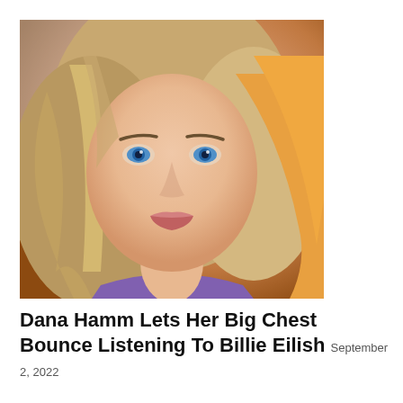[Figure (photo): Close-up portrait of a young woman with blue eyes, light brown wavy hair with highlights, wearing a purple top, with orange/amber tones in the background.]
Dana Hamm Lets Her Big Chest Bounce Listening To Billie Eilish  September 2, 2022